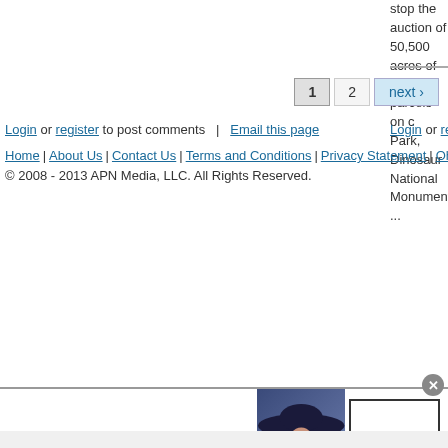stop the auction of 50,500 acres of drilling parcels on ... Park, Dinosaur National Monument ...
Login or register to post comments | Email this page
Home | About Us | Contact Us | Terms and Conditions | Privacy Statement | Oh, Ra...
© 2008 - 2013 APN Media, LLC. All Rights Reserved.
[Figure (infographic): Bloomingdale's advertisement banner with logo, 'View Today's Top Deals!' tagline, woman in wide-brim hat, and 'SHOP NOW >' button]